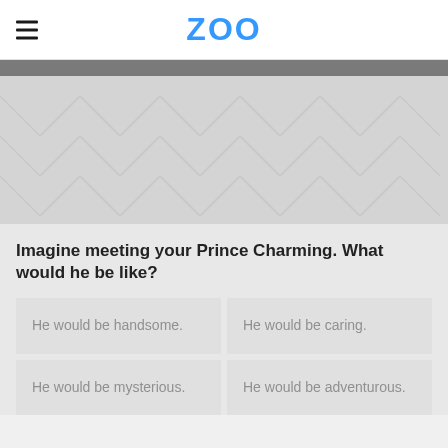ZOO
[Figure (illustration): Decorative chevron/herringbone pattern area in light gray]
Imagine meeting your Prince Charming. What would he be like?
He would be handsome.
He would be caring.
He would be mysterious.
He would be adventurous.